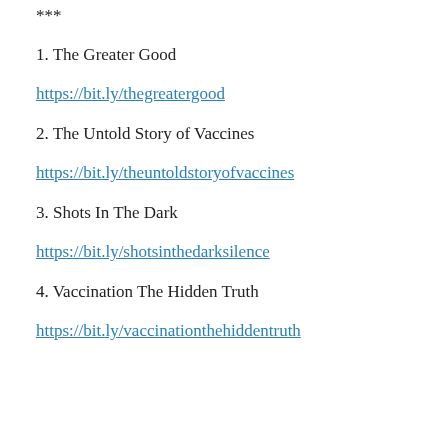***
1. The Greater Good
https://bit.ly/thegreatergood
2. The Untold Story of Vaccines
https://bit.ly/theuntoldstoryofvaccines
3. Shots In The Dark
https://bit.ly/shotsinthedarksilence
4. Vaccination The Hidden Truth
https://bit.ly/vaccinationthehiddentruth